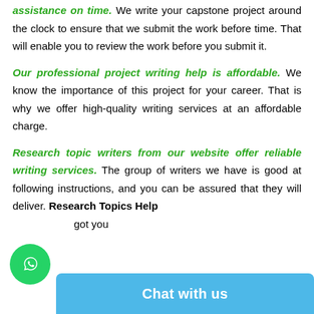assistance on time. We write your capstone project around the clock to ensure that we submit the work before time. That will enable you to review the work before you submit it.
Our professional project writing help is affordable. We know the importance of this project for your career. That is why we offer high-quality writing services at an affordable charge.
Research topic writers from our website offer reliable writing services. The group of writers we have is good at following instructions, and you can be assured that they will deliver. Research Topics Help got you...